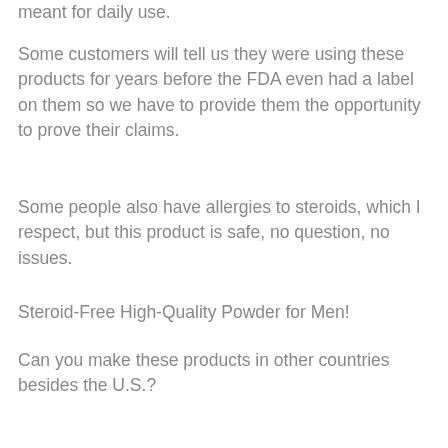meant for daily use.
Some customers will tell us they were using these products for years before the FDA even had a label on them so we have to provide them the opportunity to prove their claims.
Some people also have allergies to steroids, which I respect, but this product is safe, no question, no issues.
Steroid-Free High-Quality Powder for Men!
Can you make these products in other countries besides the U.S.?
Yes, we can. However, we do not ship other countries.
Our customer base overseas is extremely important to us, so I think that we all agree